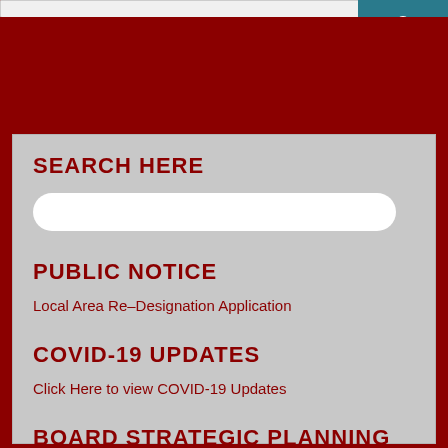[Figure (other): Accessibility icon on teal background in top right corner]
SEARCH HERE
Local Area Re-Designation Application
PUBLIC NOTICE
Local Area Re-Designation Application
COVID-19 UPDATES
Click Here to view COVID-19 Updates
BOARD STRATEGIC PLANNING
Click here to view the Strategic Planning Documents